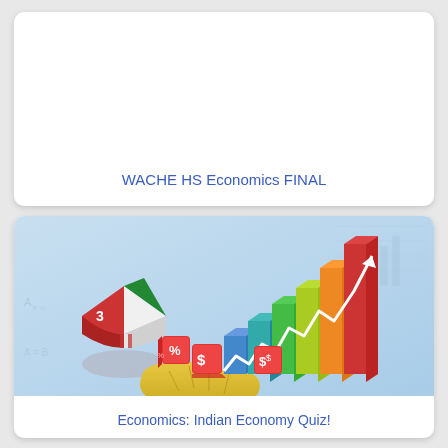WACHE HS Economics FINAL
[Figure (illustration): Economics illustration showing a 3D bar chart with rising bars in blue, green, yellow, orange, and red colors, a pie chart, a white zigzag arrow trending upward, red dice with dollar and percent signs, and a yellow map shape, all on a light blue background.]
Economics: Indian Economy Quiz!